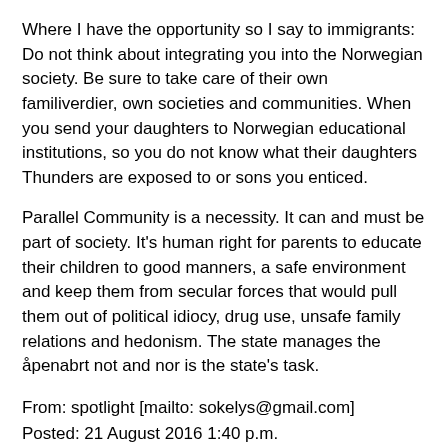Where I have the opportunity so I say to immigrants: Do not think about integrating you into the Norwegian society. Be sure to take care of their own familiverdier, own societies and communities. When you send your daughters to Norwegian educational institutions, so you do not know what their daughters Thunders are exposed to or sons you enticed.
Parallel Community is a necessity. It can and must be part of society. It's human right for parents to educate their children to good manners, a safe environment and keep them from secular forces that would pull them out of political idiocy, drug use, unsafe family relations and hedonism. The state manages the åpenabrt not and nor is the state's task.
From: spotlight [mailto: sokelys@gmail.com]
Posted: 21 August 2016 1:40 p.m.
To: Jan Kåre Christensen
Subject: Re: Rome next?
You had rat up with a Catholic !!
From: Jan Kåre Christe...